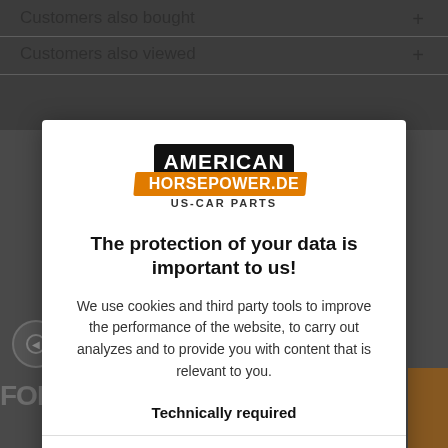Customers also bought
Customers also viewed
[Figure (logo): American Horsepower.de US-CAR PARTS logo with bold black text AMERICAN and orange HORSEPOWER.DE banner]
The protection of your data is important to us!
We use cookies and third party tools to improve the performance of the website, to carry out analyzes and to provide you with content that is relevant to you.
Technically required
Comfort functions
Statistics & Tracking